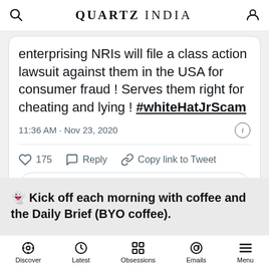QUARTZ INDIA
enterprising NRIs will file a class action lawsuit against them in the USA for consumer fraud ! Serves them right for cheating and lying ! #whiteHatJrScam
11:36 AM · Nov 23, 2020
♡ 175   Reply   Copy link to Tweet
Check out what's happening on Twitter
👻 Kick off each morning with coffee and the Daily Brief (BYO coffee).
Discover  Latest  Obsessions  Emails  Menu